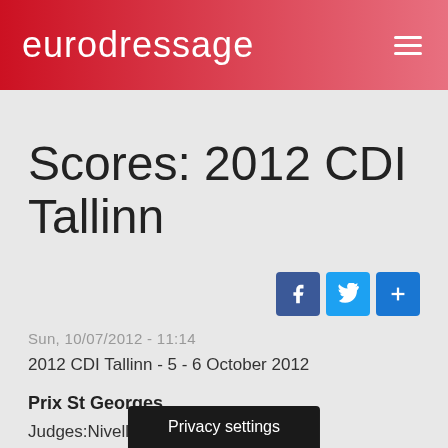eurodressage
Scores: 2012 CDI Tallinn
Sun, 10/07/2012 - 11:14
2012 CDI Tallinn - 5 - 6 October 2012
Prix St Georges
Judges:Nivelle, Kark... mington
Privacy settings